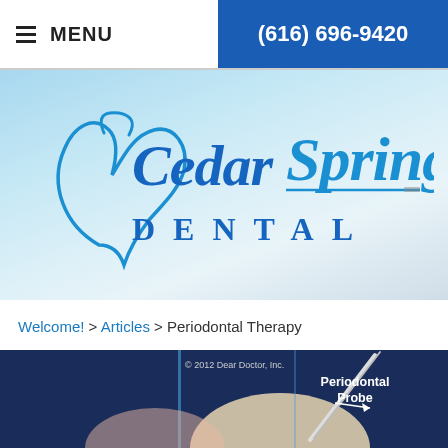☰ MENU   (616) 696-9420
[Figure (logo): Cedar Springs Dental logo with stylized tooth icon and blue script/sans-serif text on gradient blue-to-grey background]
Welcome! > Articles > Periodontal Therapy
[Figure (photo): © 2012 Dear Doctor, Inc. — Illustration of periodontal probe inserted near tooth, labeled 'Periodontal Probe' with arrow, dark blue background with tooth cross-section]